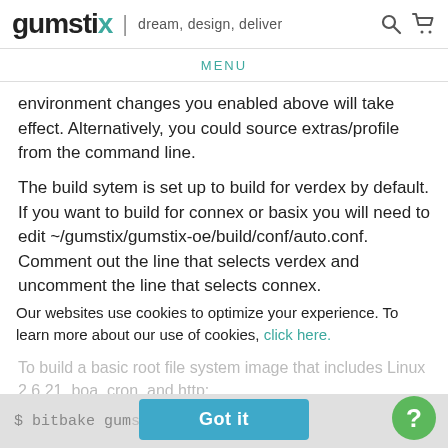gumstix | dream, design, deliver
MENU
environment changes you enabled above will take effect. Alternatively, you could source extras/profile from the command line.
The build sytem is set up to build for verdex by default. If you want to build for connex or basix you will need to edit ~/gumstix/gumstix-oe/build/conf/auto.conf. Comment out the line that selects verdex and uncomment the line that selects connex.
Our websites use cookies to optimize your experience. To learn more about our use of cookies, click here.
To build a basic root file system image that includes Linux 2.6.21, boa, cron, and http:
$ bitbake gumstix-basic-image